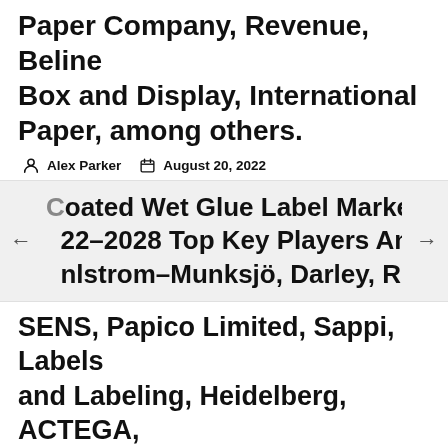Paper Company, Revenue, Beline Box and Display, International Paper, among others.
Alex Parker   August 20, 2022
Coated Wet Glue Label Market 2022–2028 Top Key Players Analysis: Ahlstrom-Munksjö, Darley, Royal SENS, Papico Limited, Sappi, Labels and Labeling, Heidelberg, ACTEGA, Brewers Guardian, among others.
Alex Parker   August 20, 2022